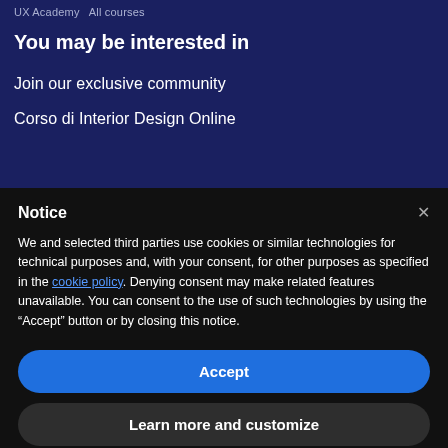UX Academy   All courses
You may be interested in
Join our exclusive community
Corso di Interior Design Online
Notice
We and selected third parties use cookies or similar technologies for technical purposes and, with your consent, for other purposes as specified in the cookie policy. Denying consent may make related features unavailable. You can consent to the use of such technologies by using the “Accept” button or by closing this notice.
Accept
Learn more and customize